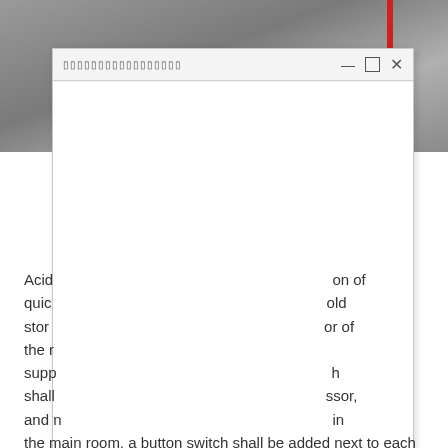[Figure (screenshot): Screenshot of a software application window overlaid on a photo of a room/storage area. The photo shows a gray interior with a red vertical stripe. The dialog window has a title bar with unreadable/encoded characters and standard minimize, maximize, close controls. The content area of the window is white/empty.]
Acid…on of quickly…old storage…or of the r…suppor…h shall…ssor, and n…in the main room, a button switch shall be added next to each refrigeration compressor.The ground should be flat and not